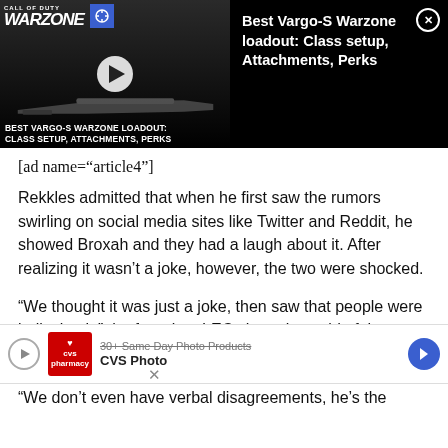[Figure (screenshot): Video thumbnail for 'Best Vargo-S Warzone loadout: Class setup, Attachments, Perks' showing Warzone logo, crosshair icon, play button, and gun silhouette on dark background, with white title text on right side and a close button]
[ad name="article4"]
Rekkles admitted that when he first saw the rumors swirling on social media sites like Twitter and Reddit, he showed Broxah and they had a laugh about it. After realizing it wasn't a joke, however, the two were shocked.
“We thought it was just a joke, then saw that people were believing it,” the four-time LEC champion said of the mu
[Figure (screenshot): CVS Photo advertisement banner showing play icon, CVS pharmacy logo, text '30+ Same Day Photo Products' and 'CVS Photo', and a blue arrow icon, with a close X button]
“We don’t even have verbal disagreements, he’s the